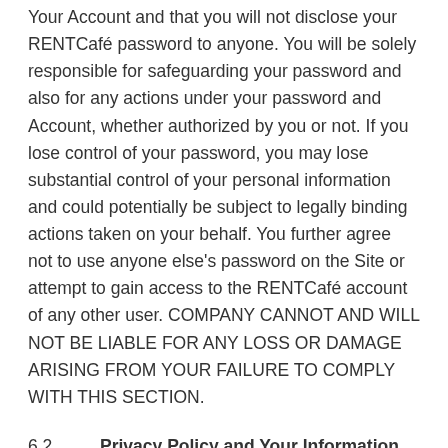Your Account and that you will not disclose your RENTCafé password to anyone. You will be solely responsible for safeguarding your password and also for any actions under your password and Account, whether authorized by you or not. If you lose control of your password, you may lose substantial control of your personal information and could potentially be subject to legally binding actions taken on your behalf. You further agree not to use anyone else's password on the Site or attempt to gain access to the RENTCafé account of any other user. COMPANY CANNOT AND WILL NOT BE LIABLE FOR ANY LOSS OR DAMAGE ARISING FROM YOUR FAILURE TO COMPLY WITH THIS SECTION.
6.2   Privacy Policy and Your Information and Material. By submitting Information and Materials and